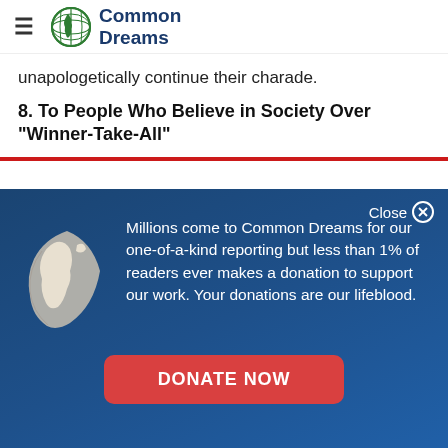Common Dreams
unapologetically continue their charade.
8. To People Who Believe in Society Over "Winner-Take-All"
[Figure (infographic): Common Dreams donation modal overlay with globe logo, text about readership and donations, and a Donate Now button]
Millions come to Common Dreams for our one-of-a-kind reporting but less than 1% of readers ever makes a donation to support our work. Your donations are our lifeblood.